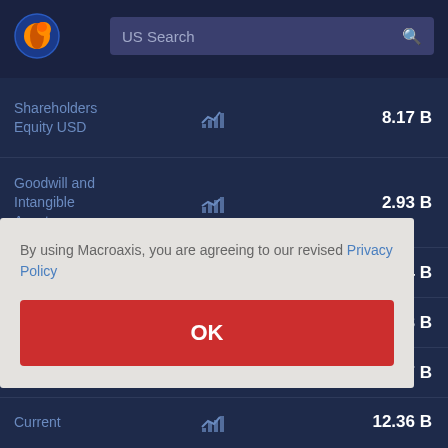[Figure (screenshot): Macroaxis logo — circular globe with orange and blue colors]
US Search
| Metric |  | Value |
| --- | --- | --- |
| Shareholders Equity USD |  | 8.17 B |
| Goodwill and Intangible Assets |  | 2.93 B |
|  |  | ...44 B |
|  |  | ...38 B |
|  |  | ...27 B |
| Current |  | 12.36 B |
By using Macroaxis, you are agreeing to our revised Privacy Policy
OK